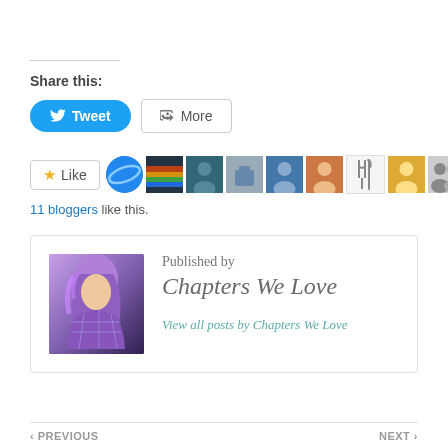Share this:
[Figure (screenshot): Tweet and More share buttons]
[Figure (screenshot): Like button with star icon and 9 blogger avatars]
11 bloggers like this.
[Figure (photo): Author photo of Chapters We Love — person with purple/colorful hair holding a book]
Published by
Chapters We Love
View all posts by Chapters We Love
‹ PREVIOUS    NEXT ›